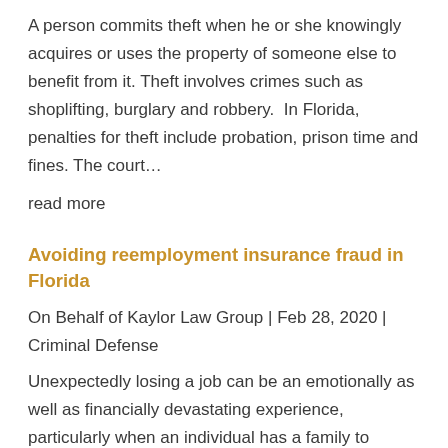A person commits theft when he or she knowingly acquires or uses the property of someone else to benefit from it. Theft involves crimes such as shoplifting, burglary and robbery.  In Florida, penalties for theft include probation, prison time and fines. The court…
read more
Avoiding reemployment insurance fraud in Florida
On Behalf of Kaylor Law Group | Feb 28, 2020 | Criminal Defense
Unexpectedly losing a job can be an emotionally as well as financially devastating experience, particularly when an individual has a family to support. In Florida, employees who suddenly find themselves out of work may be eligible for